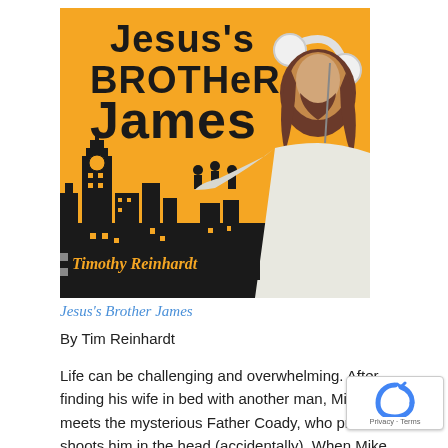[Figure (illustration): Book cover for 'Jesus's Brother James' by Timothy Reinhardt. Orange background with black silhouette of a city skyline including Big Ben. A figure in a white robe with long brown hair and white headphones holds small black silhouettes of people in his palm. Title text in bold black letters at top.]
Jesus's Brother James
By Tim Reinhardt
Life can be challenging and overwhelming. After finding his wife in bed with another man, Mike meets the mysterious Father Coady, who prom shoots him in the head (accidentally). When Mike